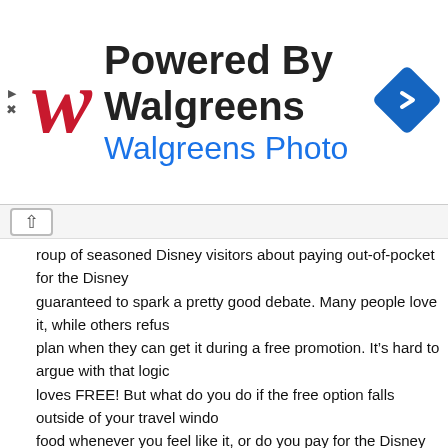[Figure (illustration): Walgreens Photo advertisement banner with red italic W logo, 'Powered By Walgreens' and 'Walgreens Photo' text, and a blue navigation diamond icon on the right.]
roup of seasoned Disney visitors about paying out-of-pocket for the Disney Dining Plan and you are guaranteed to spark a pretty good debate. Many people love it, while others refuse to add the dining plan when they can get it during a free promotion. It's hard to argue with that logic because everyone loves FREE! But what do you do if the free option falls outside of your travel window? Do you just buy food whenever you feel like it, or do you pay for the Disney Dining Plan in advance?
Walt Disney World’s Giant Turkey Leg; Gotta Hav…
Resort guests who purchase a Magic Your Way Package or book using Disney V... can purchase The Disney Dining Plan (DDP). With the dining plan, you simply purchase meals on a “voucher system.” Every night of your stay, each guest on your reservation receives quick service meals, table service meals and snacks. The number of meals you re... plan you choose.
Your Key to the World card (room key) monitors your group's allocated meals. A... receipt will display how many meals you have remaining for each ro... track of what you have left. Meals and snacks may be redeemed in... at zero or until midnight of the night you check out.
The Disney Dining Plans come in three types. Magic Your Way Package Plus O…